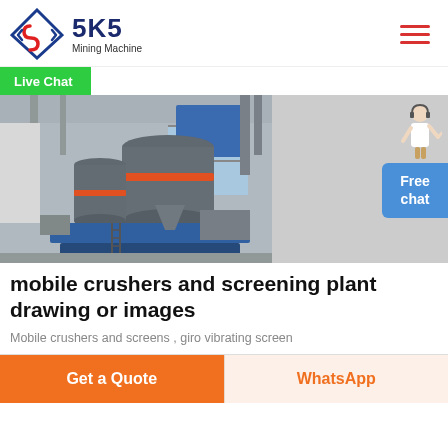SKS Mining Machine
Live Chat
[Figure (photo): Industrial mining grinding machines (Raymond mills) inside a factory/warehouse setting, large grey cylindrical machines with red rings, blue support frames]
mobile crushers and screening plant drawing or images
Mobile crushers and screens , giro vibrating screen
Get a Quote
WhatsApp